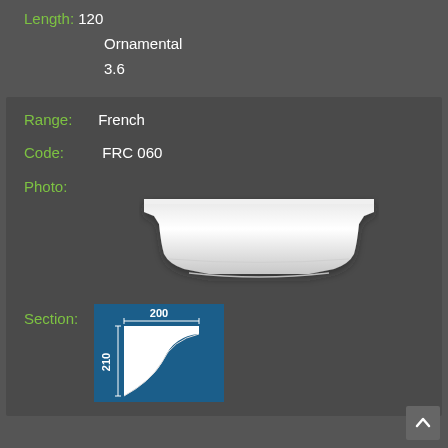Length: 120
Ornamental
3.6
Range: French
Code: FRC 060
[Figure (photo): Photo of a white ornamental French cornice moulding profile (FRC 060), showing a curved architectural trim piece viewed from above at an angle.]
[Figure (schematic): Section diagram of cornice FRC 060 on blue background showing cross-section profile with dimensions 200 (width) and 210 (height) marked.]